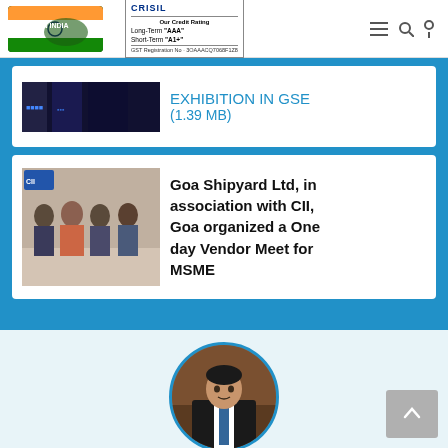Make in India | CRISIL Our Credit Rating Long-Term AAA Short-Term AI+ | GST Registration No.
(1.39 MB)
EXHIBITION IN GSE
[Figure (photo): Dark background image related to exhibition, partial view]
[Figure (photo): Group photo of people at Goa Shipyard MSME Vendor Meet event]
Goa Shipyard Ltd, in association with CII, Goa organized a One day Vendor Meet for MSME
[Figure (photo): Circular portrait photo of Mr. Brajesh Kumar Upadhyay, Chairman & Managing Director of Goa Shipyard Ltd, seated at desk in formal attire]
Chairman
Mr. Brajesh Kumar Upadhyay assumed charge of the post of Chairman & Managing Director